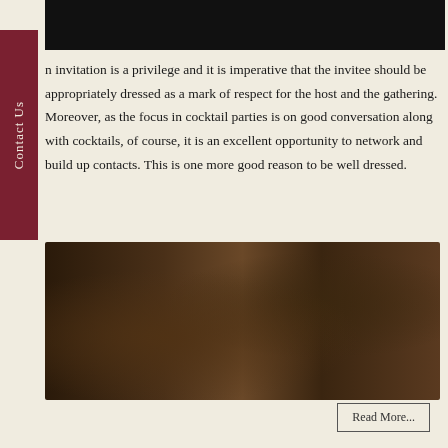[Figure (photo): Dark top image, partial view of a cocktail party or dark background scene]
n invitation is a privilege and it is imperative that the invitee should be appropriately dressed as a mark of respect for the host and the gathering. Moreover, as the focus in cocktail parties is on good conversation along with cocktails, of course, it is an excellent opportunity to network and build up contacts. This is one more good reason to be well dressed.
[Figure (photo): Dark atmospheric photo of men at a cocktail party, one hand pouring or holding a decanter, another man in a suit holding a whiskey glass, wooden table with a cigar]
Read More...